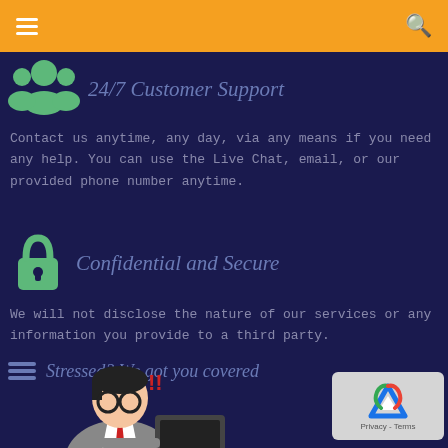24/7 Customer Support
Contact us anytime, any day, via any means if you need any help. You can use the Live Chat, email, or our provided phone number anytime.
Confidential and Secure
We will not disclose the nature of our services or any information you provide to a third party.
Stressed? We got you covered
[Figure (illustration): Cartoon of a stressed businessman with glasses looking at a computer screen with red exclamation marks above his head.]